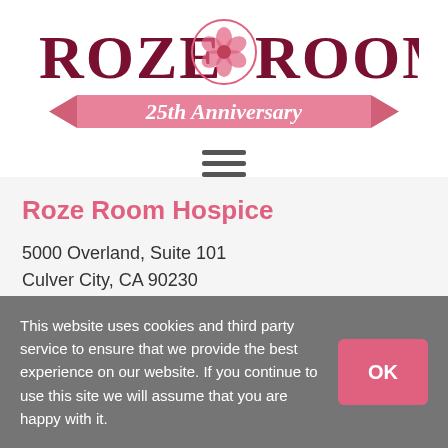[Figure (logo): Roze Room 25th Anniversary logo with dark red serif text, pink rose emblem in center, and pink ribbon banner reading '25th Anniversary']
[Figure (other): Hamburger menu icon — three horizontal dark gray bars]
Roze Room Hospice
5000 Overland, Suite 101
Culver City, CA 90230
Toll Free: (800) 828-9017
This website uses cookies and third party service to ensure that we provide the best experience on our website. If you continue to use this site we will assume that you are happy with it.